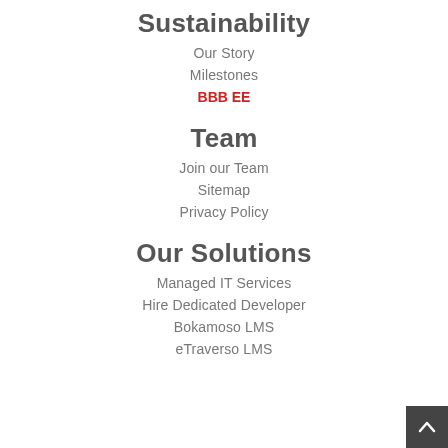Sustainability
Our Story
Milestones
BBB EE
Team
Join our Team
Sitemap
Privacy Policy
Our Solutions
Managed IT Services
Hire Dedicated Developer
Bokamoso LMS
eTraverso LMS